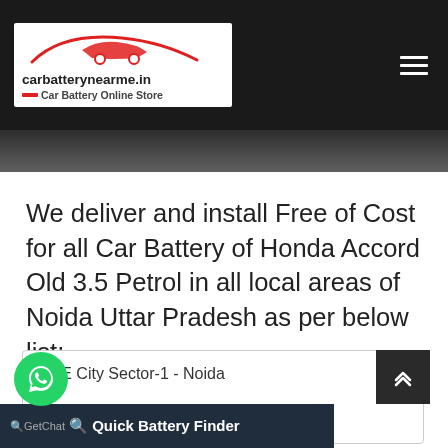[Figure (logo): carbatterynearme.in logo with red car silhouette and tagline 'Car Battery Online Store' on white background in black header bar]
We deliver and install Free of Cost for all Car Battery of Honda Accord Old 3.5 Petrol in all local areas of Noida Uttar Pradesh as per below list:-
ACE City Sector-1 - Noida
Quick Battery Finder